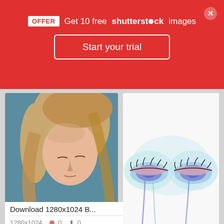OFFER Get 10 free shutterstock images
Start your trial
Download 1280x1024 B...
1280x1024   0   0
[Figure (photo): Digital painting of a blonde woman with eyes closed, head bowed, against a blue-grey background]
[Figure (photo): Digital painting of a person with dark hair, eyes closed, portrait style with warm earthy tones]
[Figure (illustration): Watercolor-style illustration of two closed eyes with colorful drips in purple, blue and teal, on white background]
Items Similar To 8x1...
570x777   0   0
[Figure (photo): Partial view of another image card at bottom right]